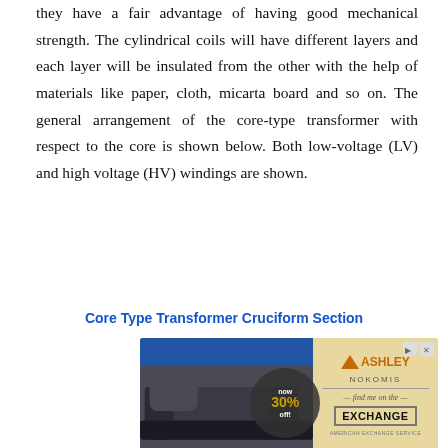they have a fair advantage of having good mechanical strength. The cylindrical coils will have different layers and each layer will be insulated from the other with the help of materials like paper, cloth, micarta board and so on. The general arrangement of the core-type transformer with respect to the core is shown below. Both low-voltage (LV) and high voltage (HV) windings are shown.
Core Type Transformer Cruciform Section
[Figure (photo): Advertisement for Ashley Furniture NOKOMIS, showing a dark leather sofa, '30% off' promotional badge, and 'find me on the EXCHANGE' branding with triangular Ashley logo.]